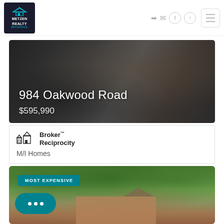Metzen Realty
[Figure (photo): Property hero banner showing 984 Oakwood Road with dark textured background]
984 Oakwood Road
$595,990
[Figure (logo): Broker Reciprocity logo with house icon]
Broker™ Reciprocity
M/I Homes
[Figure (photo): Second listing photo with trees, house, and MOST EXPENSIVE badge; chat bubble overlay]